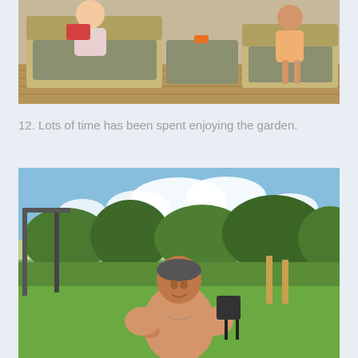[Figure (photo): Two children sitting on outdoor wicker garden furniture with grey cushions on a wooden deck]
12. Lots of time has been spent enjoying the garden.
[Figure (photo): A shirtless middle-aged man smiling in a sunny garden with green hedges, trees, fields and a blue sky with clouds in the background]